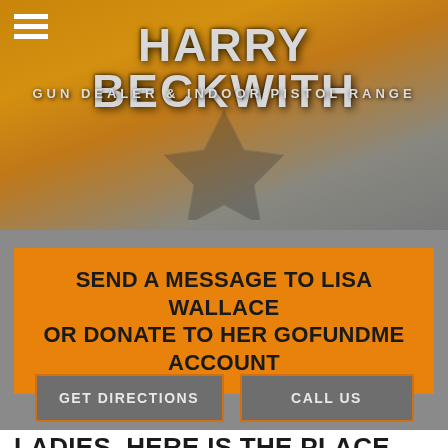[Figure (logo): Harry Beckwith Gun Dealer & Indoor Pistol Range banner logo with orange/gold background, hamburger menu icon, and decorative eagle/wings emblem]
SEND A MESSAGE TO LISA WALLACE OR DONATE TO HER GOFUNDME ACCOUNT
GET DIRECTIONS
CALL US
LADIES, HERE IS THE PLACE FOR YOU! WE OFFER SPECIAL EVENTS,